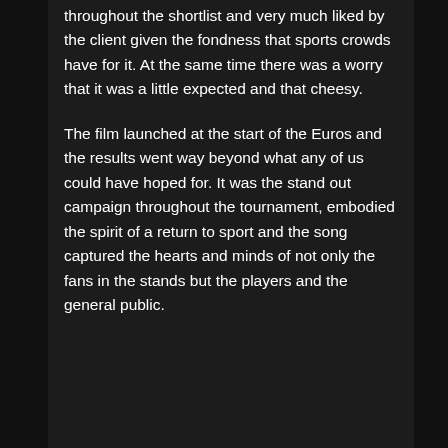throughout the shortlist and very much liked by the client given the fondness that sports crowds have for it. At the same time there was a worry that it was a little expected and that cheesy.
The film launched at the start of the Euros and the results went way beyond what any of us could have hoped for. It was the stand out campaign throughout the tournament, embodied the spirit of a return to sport and the song captured the hearts and minds of not only the fans in the stands but the players and the general public.
Back to list